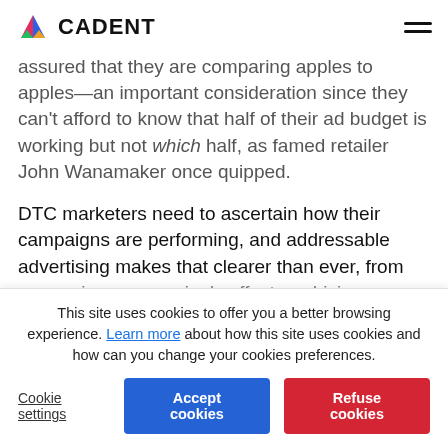CADENT
assured that they are comparing apples to apples—an important consideration since they can't afford to know that half of their ad budget is working but not which half, as famed retailer John Wanamaker once quipped.
DTC marketers need to ascertain how their campaigns are performing, and addressable advertising makes that clearer than ever, from measuring a campaign's effect on driving consumer
This site uses cookies to offer you a better browsing experience. Learn more about how this site uses cookies and how can you change your cookies preferences.
Cookie settings
Accept cookies
Refuse cookies